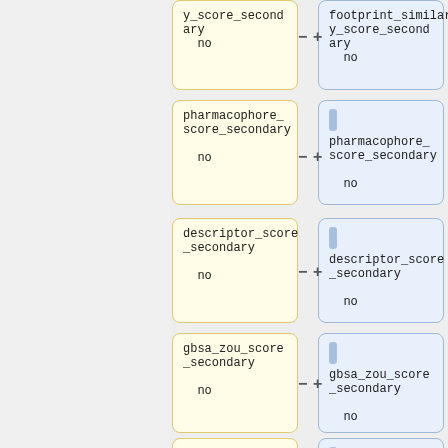[Figure (flowchart): Flowchart showing pairs of yellow and blue node boxes with field names and 'no' values. Left column (yellow boxes): y_score_secondary(no), pharmacophore_score_secondary(no), descriptor_score_secondary(no), gbsa_zou_score_secondary(no), gbsa_hawkins_s... Right column (blue boxes): footprint_similarity_score_secondary(no), pharmacophore_score_secondary(no), descriptor_score_secondary(no), gbsa_zou_score_secondary(no). Connectors with minus and plus signs link pairs.]